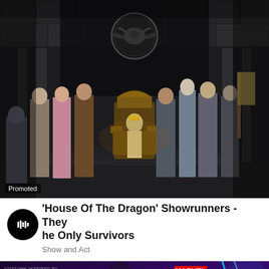[Figure (photo): House of the Dragon promotional still showing characters in a throne room with Targaryen sigil above, king seated on ornate throne surrounded by courtiers and knights in armor. 'Promoted' label in bottom-left corner.]
'House Of The Dragon' Showrunners - They he Only Survivors
Show and Act
[Figure (photo): Marvel Strike Force promotional image with Thor Love and Thunder costume branding, showing characters with lightning effects on purple background.]